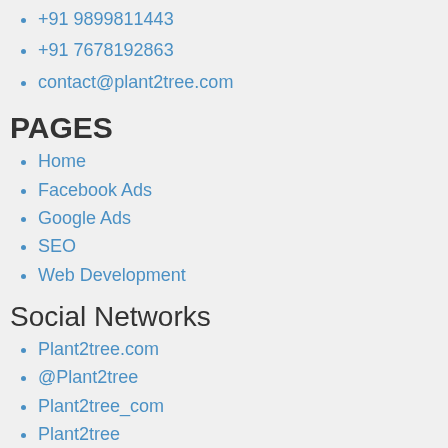+91 9899811443
+91 7678192863
contact@plant2tree.com
PAGES
Home
Facebook Ads
Google Ads
SEO
Web Development
Social Networks
Plant2tree.com
@Plant2tree
Plant2tree_com
Plant2tree